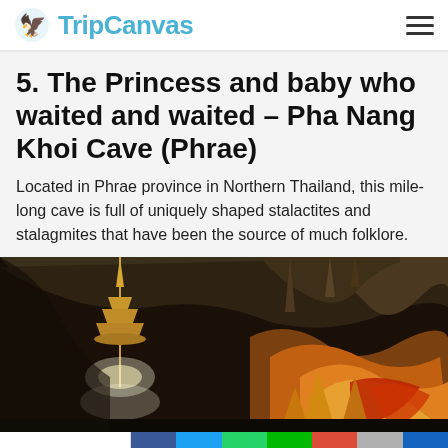TripCanvas
5. The Princess and baby who waited and waited – Pha Nang Khoi Cave (Phrae)
Located in Phrae province in Northern Thailand, this mile-long cave is full of uniquely shaped stalactites and stalagmites that have been the source of much folklore.
[Figure (photo): Interior of Pha Nang Khoi Cave showing a golden temple spire/pagoda illuminated on the left, colorful stalactites and rock formations lit in orange and yellow on the right, with dark cave ceiling above.]